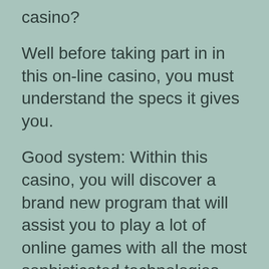casino?
Well before taking part in in this on-line casino, you must understand the specs it gives you.
Good system: Within this casino, you will discover a brand new program that will assist you to play a lot of online games with all the most sophisticated technologies.
• A lot of game titles and options: if you like gambling games in this casino, you may choose a number of options. You are going to satisfy games that are easier to enjoy than